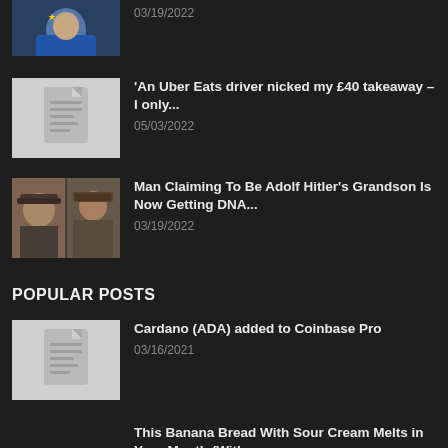[Figure (photo): Astronaut in blue suit, partially cropped at top]
03/19/2022
[Figure (photo): Document/article placeholder thumbnail]
'An Uber Eats driver nicked my £40 takeaway – I only...
05/03/2022
[Figure (photo): Split image: man in military/Nazi uniform and Adolf Hitler]
Man Claiming To Be Adolf Hitler's Grandson Is Now Getting DNA...
03/19/2022
POPULAR POSTS
[Figure (photo): Document/article placeholder thumbnail]
Cardano (ADA) added to Coinbase Pro
03/16/2021
This Banana Bread With Sour Cream Melts in Your Mouth (With...